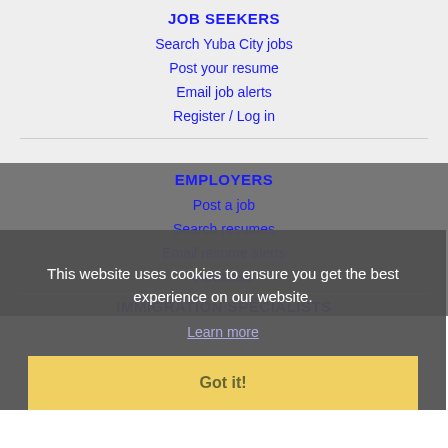JOB SEEKERS
Search Yuba City jobs
Post your resume
Email job alerts
Register / Log in
EMPLOYERS
This website uses cookies to ensure you get the best experience on our website.
Learn more
Post a job
Search resumes
Email resume alerts
Advertise
Got it!
IMMIGRATION SPECIALISTS